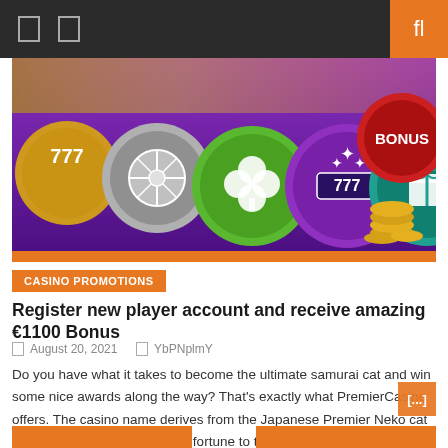Navigation bar with icons and search button
[Figure (illustration): Casino-themed banner image showing colorful circular tokens/coins with casino symbols: 777, roulette wheel, clover, gift box, bonus token, and gold coins stacked, on a purple background with orange border]
CASINO PROMOTIONS
Register new player account and receive amazing €1100 Bonus
August 20, 2021   YbPNplmY
Do you have what it takes to become the ultimate samurai cat and win some nice awards along the way? That's exactly what PremierCasino offers. The casino name derives from the Japanese Premier Neko cat figures believed to bring good fortune to their owners. So, is Premier casino going to be your new lucky spot? [...]